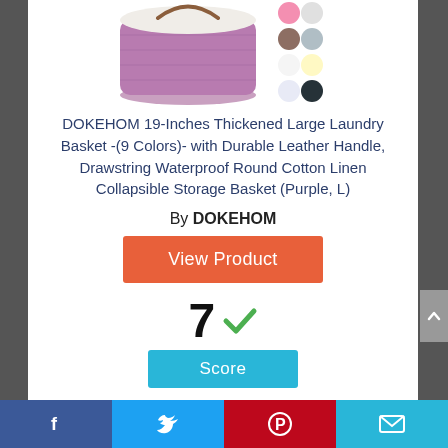[Figure (photo): Product photo of DOKEHOM laundry basket in purple with color swatches on the right side]
DOKEHOM 19-Inches Thickened Large Laundry Basket -(9 Colors)- with Durable Leather Handle, Drawstring Waterproof Round Cotton Linen Collapsible Storage Basket (Purple, L)
By DOKEHOM
View Product
7 Score